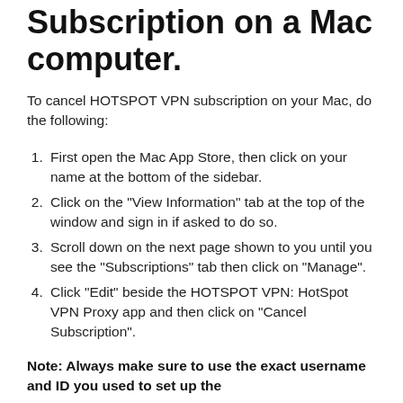Subscription on a Mac computer.
To cancel HOTSPOT VPN subscription on your Mac, do the following:
First open the Mac App Store, then click on your name at the bottom of the sidebar.
Click on the "View Information" tab at the top of the window and sign in if asked to do so.
Scroll down on the next page shown to you until you see the "Subscriptions" tab then click on "Manage".
Click "Edit" beside the HOTSPOT VPN: HotSpot VPN Proxy app and then click on "Cancel Subscription".
Note: Always make sure to use the exact username and ID you used to set up the